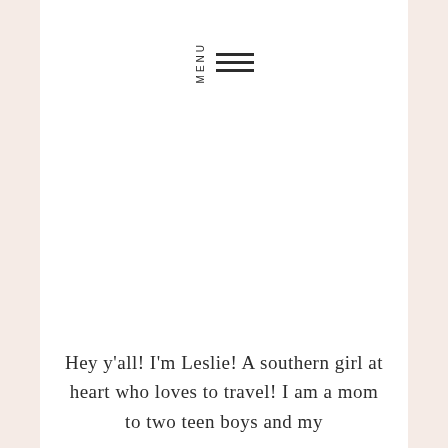MENU
Hey y'all! I'm Leslie! A southern girl at heart who loves to travel!  I am a mom to two teen boys and my